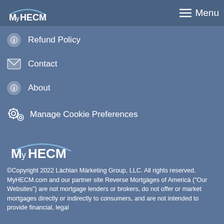MyHECM | Menu
Refund Policy
Contact
About
Manage Cookie Preferences
[Figure (logo): MyHECM logo in white and blue, with stylized arc above text]
©Copyright 2022 Làchlan Màrketing Group, LLC. All rights reserved. MyHECM.com and our partner site Reverse Mortgàges of Americà ("Our Websites") are not mortgage lenders or brokers, do not offer or market mortgages directly or indirectly to consumers, and are not intended to provide financial, legal